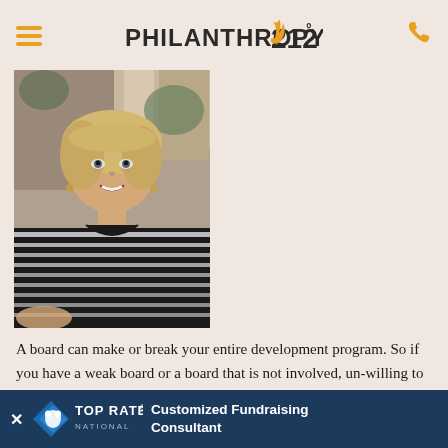PHILANTHROPY 212°
[Figure (photo): Portrait photo of a middle-aged woman with blonde hair, wearing a black and white striped top, smiling at the camera]
A board can make or break your entire development program. So if you have a weak board or a board that is not involved, un-willing to give, receive, or talk to people, then your program will not go very far.
Fundraisers are no
[Figure (infographic): Top Rated National badge with text 'Customized Fundraising Consultant' on dark blue banner]